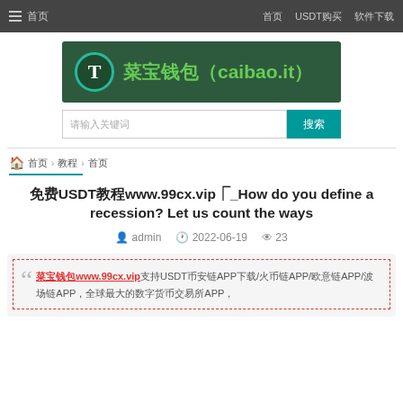☰ 首页   首页  USDT购买  软件下载
[Figure (logo): 菜宝钱包 (caibao.it) banner logo with Tether symbol on dark green background]
请输入关键词  搜索
🏠 首页 › 教程 › 首页
免费USDT教程www.99cx.vip⎾_How do you define a recession? Let us count the ways
admin  2022-06-19  23
菜宝钱包www.99cx.vip支持USDT币安链APP下载/火币链APP/欧意链APP/波场链APP，全球最大的数字货币交易所APP，